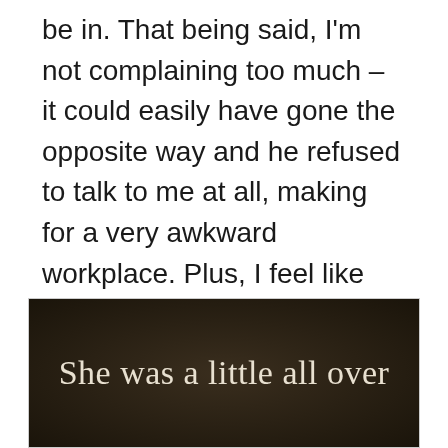be in.  That being said, I'm not complaining too much – it could easily have gone the opposite way and he refused to talk to me at all, making for a very awkward workplace.  Plus, I feel like this is just a learning experience on how to take things slow.  So, learn I shall.  Maybe things will eventually fall into place, or maybe we'll both drift back to being just colleagues.  I know what I'm rooting for, but I'm not going to push it either.
[Figure (screenshot): Dark background image with white serif text reading 'She was a little all over']